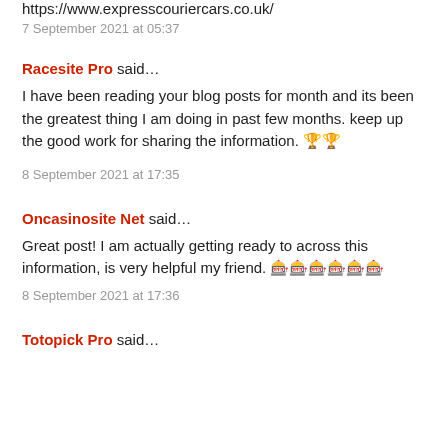https://www.expresscouriercars.co.uk/
7 September 2021 at 05:37
Racesite Pro said…
I have been reading your blog posts for month and its been the greatest thing I am doing in past few months. keep up the good work for sharing the information. 🏆🏆
8 September 2021 at 17:35
Oncasinosite Net said…
Great post! I am actually getting ready to across this information, is very helpful my friend. 🎰🎰🎰🎰🎰🎰
8 September 2021 at 17:36
Totopick Pro said…